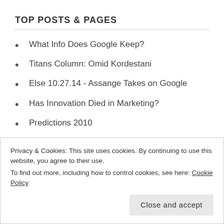TOP POSTS & PAGES
What Info Does Google Keep?
Titans Column: Omid Kordestani
Else 10.27.14 - Assange Takes on Google
Has Innovation Died in Marketing?
Predictions 2010
Right Message, Right Time: P&G's "Lead with Love" Delivers.
Google: The Ten Years Stories
Privacy & Cookies: This site uses cookies. By continuing to use this website, you agree to their use.
To find out more, including how to control cookies, see here: Cookie Policy
Close and accept